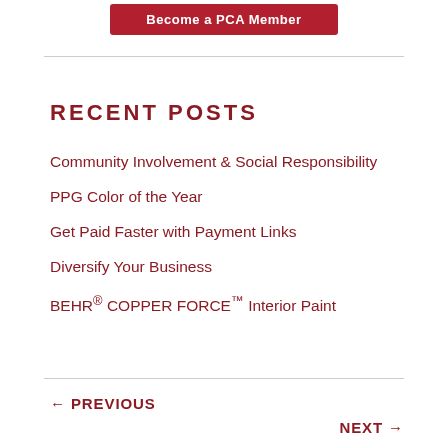[Figure (other): Red button labeled 'Become a PCA Member' partially visible at top]
RECENT POSTS
Community Involvement & Social Responsibility
PPG Color of the Year
Get Paid Faster with Payment Links
Diversify Your Business
BEHR® COPPER FORCE™ Interior Paint
← PREVIOUS
NEXT →